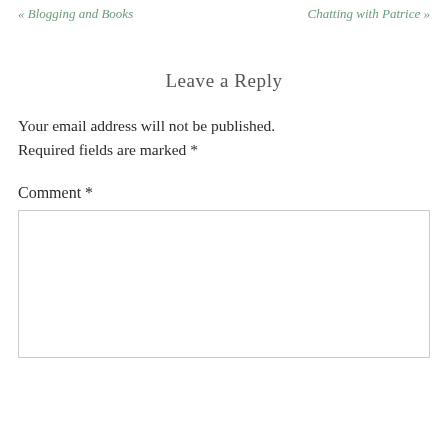« Blogging and Books    Chatting with Patrice »
Leave a Reply
Your email address will not be published. Required fields are marked *
Comment *